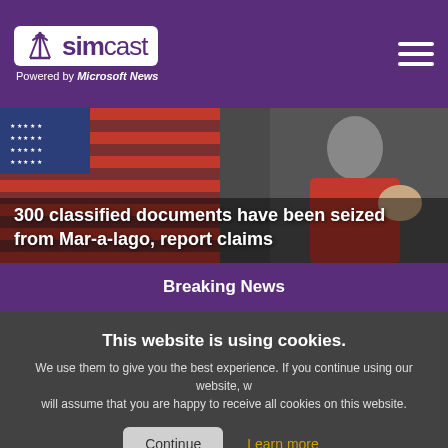simcast — Powered by Microsoft News
[Figure (photo): Hero image showing a person in red jacket against an American flag backdrop, with overlaid headline text]
300 classified documents have been seized from Mar-a-lago, report claims
Breaking News
This website is using cookies.
We use them to give you the best experience. If you continue using our website, we will assume that you are happy to receive all cookies on this website.
Continue   Learn more
[Figure (photo): Thumbnail photo of a man in a suit gesturing]
against a bad law championed by Gov. Ron DeSantis
New York Daily News
[Figure (photo): Thumbnail photo of chess pieces]
Youngkin plans midterm campaign stops — including a 2024 early state